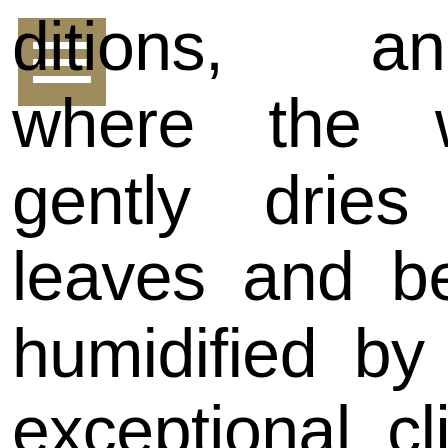[Figure (other): A square icon with tan/khaki background containing three horizontal white lines (hamburger menu icon)]
ditions, and where the wind gently dries the leaves and berries, humidified by the exceptional climate of the region.